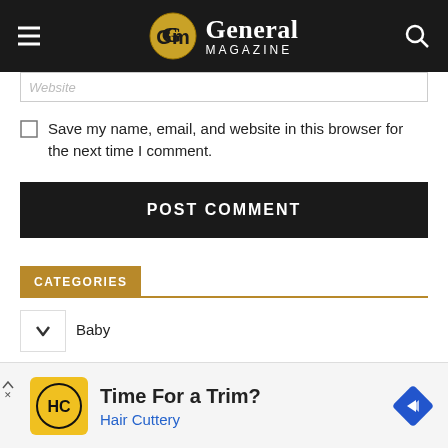General Magazine
Website
Save my name, email, and website in this browser for the next time I comment.
POST COMMENT
CATEGORIES
Baby
[Figure (other): Advertisement: Time For a Trim? Hair Cuttery]
Time For a Trim? Hair Cuttery